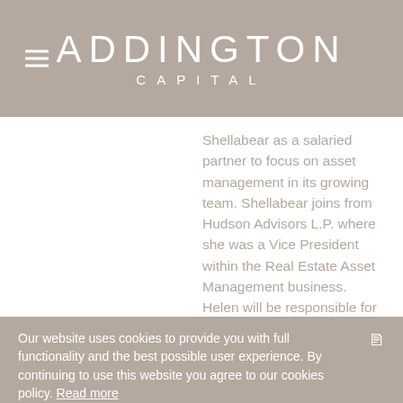ADDINGTON CAPITAL
Shellabear as a salaried partner to focus on asset management in its growing team. Shellabear joins from Hudson Advisors L.P. where she was a Vice President within the Real Estate Asset Management business. Helen will be responsible for
Our website uses cookies to provide you with full functionality and the best possible user experience. By continuing to use this website you agree to our cookies policy. Read more